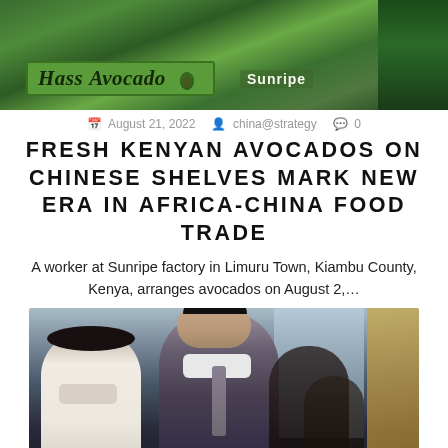[Figure (photo): Photo of avocado packaging boxes with 'Hass Avocado' branding and Sunripe logo at a factory, green background]
August 21, 2022  china@strategy  0
FRESH KENYAN AVOCADOS ON CHINESE SHELVES MARK NEW ERA IN AFRICA-CHINA FOOD TRADE
A worker at Sunripe factory in Limuru Town, Kiambu County, Kenya, arranges avocados on August 2,...
[Figure (photo): Photo of people wearing face masks, including a man in a suit in the center and a woman in white on the left, in what appears to be a formal or official setting]